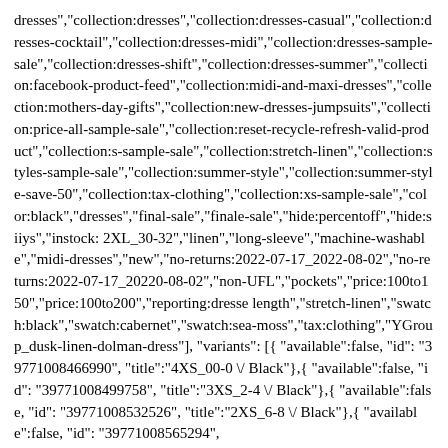dresses","collection:dresses","collection:dresses-casual","collection:dresses-cocktail","collection:dresses-midi","collection:dresses-sample-sale","collection:dresses-shift","collection:dresses-summer","collection:facebook-product-feed","collection:midi-and-maxi-dresses","collection:mothers-day-gifts","collection:new-dresses-jumpsuits","collection:price-all-sample-sale","collection:reset-recycle-refresh-valid-product","collection:s-sample-sale","collection:stretch-linen","collection:styles-sample-sale","collection:summer-style","collection:summer-style-save-50","collection:tax-clothing","collection:xs-sample-sale","color:black","dresses","final-sale","finale-sale","hide:percentoff","hide:siiys","instock: 2XL_30-32","linen","long-sleeve","machine-washable","midi-dresses","new","no-returns:2022-07-17_2022-08-02","no-returns:2022-07-17_20220-08-02","non-UFL","pockets","price:100to150","price:100to200","reporting:dresse length","stretch-linen","swatch:black","swatch:cabernet","swatch:sea-moss","tax:clothing","YGroup_dusk-linen-dolman-dress"], "variants": [{ "available":false, "id": "39771008466990", "title":"4XS_00-0 \/ Black"},{ "available":false, "id": "39771008499758", "title":"3XS_2-4 \/ Black"},{ "available":false, "id": "39771008532526", "title":"2XS_6-8 \/ Black"},{ "available":false, "id": "39771008565294",